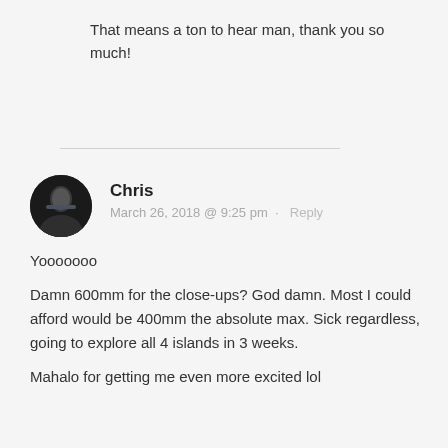That means a ton to hear man, thank you so much!
Yooooooo
Damn 600mm for the close-ups? God damn. Most I could afford would be 400mm the absolute max. Sick regardless, going to explore all 4 islands in 3 weeks.

Mahalo for getting me even more excited lol
Chris · March 26, 2018 @ 9:25 pm · Reply